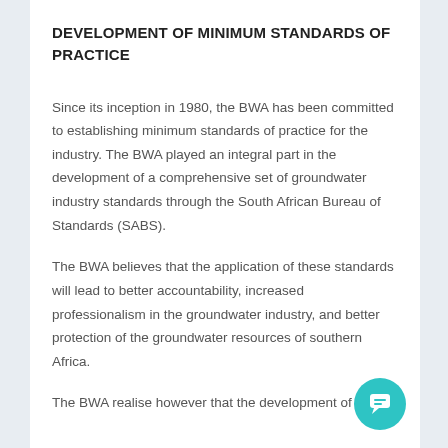DEVELOPMENT OF MINIMUM STANDARDS OF PRACTICE
Since its inception in 1980, the BWA has been committed to establishing minimum standards of practice for the industry. The BWA played an integral part in the development of a comprehensive set of groundwater industry standards through the South African Bureau of Standards (SABS).
The BWA believes that the application of these standards will lead to better accountability, increased professionalism in the groundwater industry, and better protection of the groundwater resources of southern Africa.
The BWA realise however that the development of